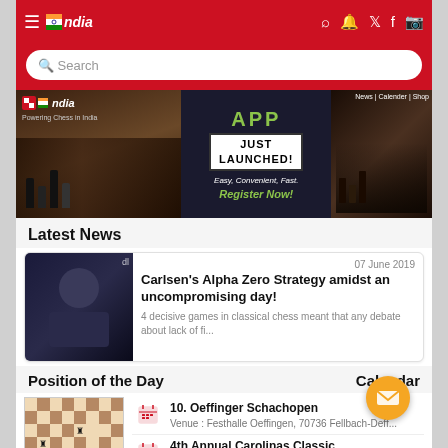Chess India — App navigation header with search
[Figure (screenshot): Chess India website banner with app promotion: APP JUST LAUNCHED! Easy, Convenient, Fast. Register Now!]
Latest News
[Figure (photo): Magnus Carlsen thinking at chess board]
07 June 2019
Carlsen's Alpha Zero Strategy amidst an uncompromising day!
4 decisive games in classical chess meant that any debate about lack of fi...
Position of the Day
Calendar
[Figure (other): Chess board position thumbnail]
10. Oeffinger Schachopen
Venue : Festhalle Oeffingen, 70736 Fellbach-Deffingen
4th Annual Carolinas Classic
Venue : Hilton Charlotte University Place, 8629...
Festival WeekEnd Open *Campi...